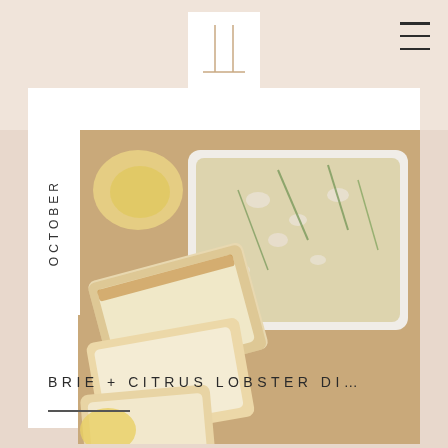[Figure (logo): Minimalist logo with two vertical bars and horizontal lines forming a bracket/column shape]
[Figure (other): Hamburger menu icon with three horizontal lines]
OCTOBER
[Figure (photo): Overhead photo of a white baking dish containing a creamy lobster dip with herbs, surrounded by sliced bread and lemon wedges on a wooden board]
BRIE + CITRUS LOBSTER DI…